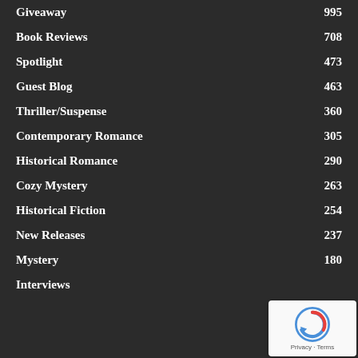Giveaway 995
Book Reviews 708
Spotlight 473
Guest Blog 463
Thriller/Suspense 360
Contemporary Romance 305
Historical Romance 290
Cozy Mystery 263
Historical Fiction 254
New Releases 237
Mystery 180
Interviews
[Figure (other): reCAPTCHA badge with Privacy and Terms links]